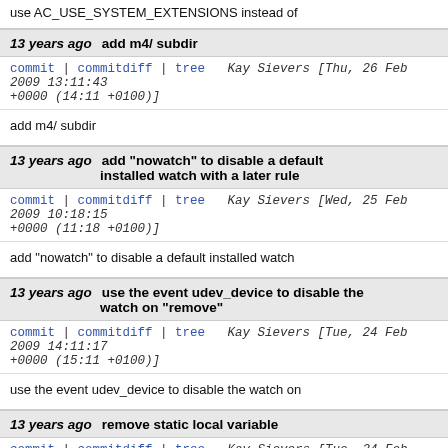use AC_USE_SYSTEM_EXTENSIONS instead of
13 years ago  add m4/ subdir
commit | commitdiff | tree  Kay Sievers [Thu, 26 Feb 2009 13:11:43 +0000 (14:11 +0100)]
add m4/ subdir
13 years ago  add "nowatch" to disable a default installed watch with a later rule
commit | commitdiff | tree  Kay Sievers [Wed, 25 Feb 2009 10:18:15 +0000 (11:18 +0100)]
add "nowatch" to disable a default installed watch
13 years ago  use the event udev_device to disable the watch on "remove"
commit | commitdiff | tree  Kay Sievers [Tue, 24 Feb 2009 14:11:17 +0000 (15:11 +0100)]
use the event udev_device to disable the watch on
13 years ago  remove static local variable
commit | commitdiff | tree  Kay Sievers [Tue, 24 Feb 2009 11:58:48